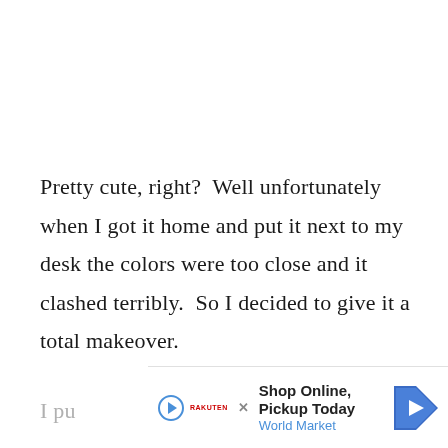Pretty cute, right?  Well unfortunately when I got it home and put it next to my desk the colors were too close and it clashed terribly.  So I decided to give it a total makeover.
I pu
[Figure (other): Advertisement banner: Shop Online, Pickup Today - World Market, with a blue navigation arrow icon and play/close buttons]